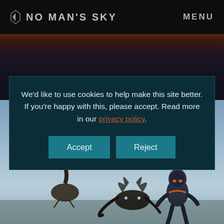No Man's Sky  MENU
INFESTATIONS
We'd like to use cookies to help make this site better. If you're happy with this, please accept. Read more in our privacy policy.
Accept
Reject
[Figure (illustration): Game scene showing alien creatures and a suited astronaut character against a misty blue sky with a large moon/sun in the background]